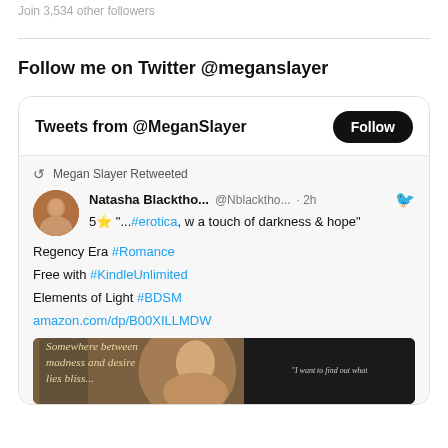Join 3,534 other followers
Follow me on Twitter @meganslayer
[Figure (screenshot): Twitter widget showing Tweets from @MeganSlayer with a Follow button. Contains a retweet by Megan Slayer from Natasha Blacktho... @Nblacktho... 2h: '5⭐ "...#erotica, w a touch of darkness & hope" Regency Era #Romance Free with #KindleUnlimited Elements of Light #BDSM amazon.com/dp/B00XILLMDW' with a book cover image at bottom.]